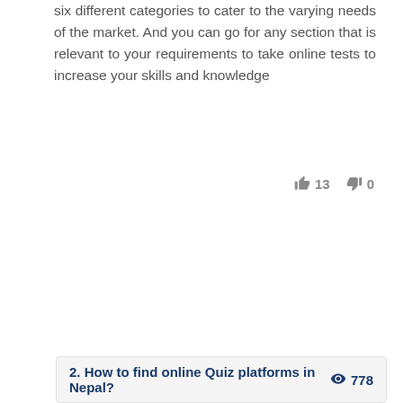six different categories to cater to the varying needs of the market. And you can go for any section that is relevant to your requirements to take online tests to increase your skills and knowledge
👍 13   👎 0
2. How to find online Quiz platforms in Nepal?   👁 778